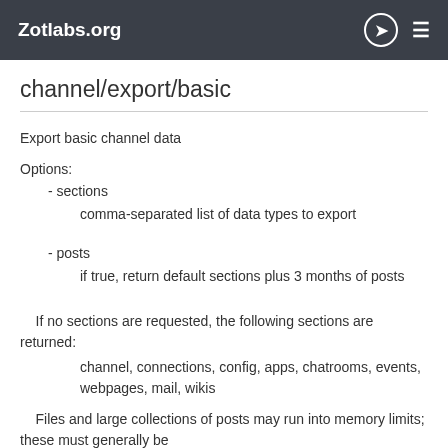Zotlabs.org
channel/export/basic
Export basic channel data
Options:
- sections
comma-separated list of data types to export
- posts
if true, return default sections plus 3 months of posts
If no sections are requested, the following sections are returned:
channel, connections, config, apps, chatrooms, events, webpages, mail, wikis
Files and large collections of posts may run into memory limits; these must generally be